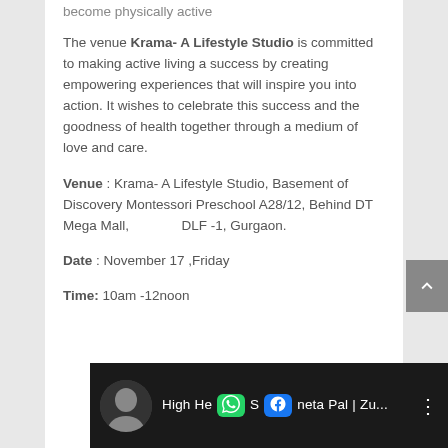become physically active
The venue Krama- A Lifestyle Studio is committed to making active living a success by creating empowering experiences that will inspire you into action. It wishes to celebrate this success and the goodness of health together through a medium of love and care.
Venue : Krama- A Lifestyle Studio, Basement of Discovery Montessori Preschool A28/12, Behind DT Mega Mall,                  DLF -1, Gurgaon.
Date : November 17 ,Friday
Time: 10am -12noon
[Figure (screenshot): Video thumbnail showing a woman in black and white with text 'High He...neta Pal | Zu...' and WhatsApp and Facebook social media icons overlaid]